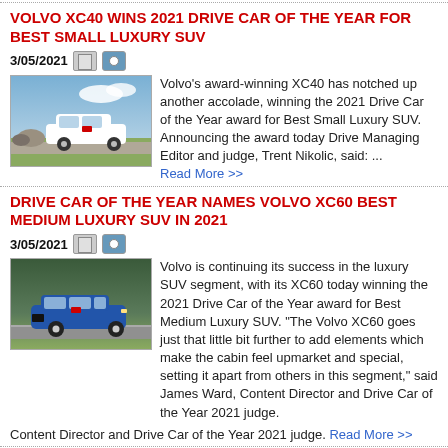VOLVO XC40 WINS 2021 DRIVE CAR OF THE YEAR FOR BEST SMALL LUXURY SUV
3/05/2021
[Figure (photo): White Volvo XC40 SUV parked on a scenic road with rocks and blue sky]
Volvo's award-winning XC40 has notched up another accolade, winning the 2021 Drive Car of the Year award for Best Small Luxury SUV. Announcing the award today Drive Managing Editor and judge, Trent Nikolic, said: ... Read More >>
DRIVE CAR OF THE YEAR NAMES VOLVO XC60 BEST MEDIUM LUXURY SUV IN 2021
3/05/2021
[Figure (photo): Blue Volvo XC60 SUV driving on a road]
Volvo is continuing its success in the luxury SUV segment, with its XC60 today winning the 2021 Drive Car of the Year award for Best Medium Luxury SUV. "The Volvo XC60 goes just that little bit further to add elements which make the cabin feel upmarket and special, setting it apart from others in this segment," said James Ward, Content Director and Drive Car of the Year 2021 judge. Read More >>
VOLVO CARS FAMILY BOND GIVES ALL EMPLOYEES 24 WEEKS PAID PARENTAL LEAVE